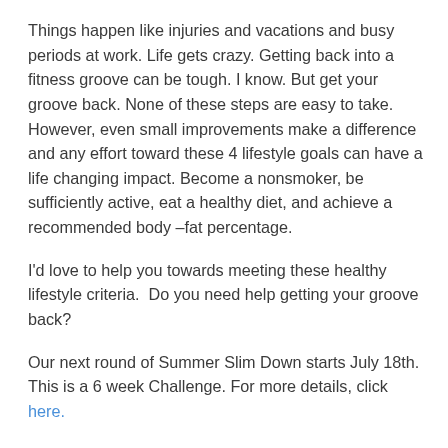Things happen like injuries and vacations and busy periods at work. Life gets crazy. Getting back into a fitness groove can be tough. I know. But get your groove back. None of these steps are easy to take. However, even small improvements make a difference and any effort toward these 4 lifestyle goals can have a life changing impact. Become a nonsmoker, be sufficiently active, eat a healthy diet, and achieve a recommended body –fat percentage.
I'd love to help you towards meeting these healthy lifestyle criteria.  Do you need help getting your groove back?
Our next round of Summer Slim Down starts July 18th. This is a 6 week Challenge. For more details, click here.